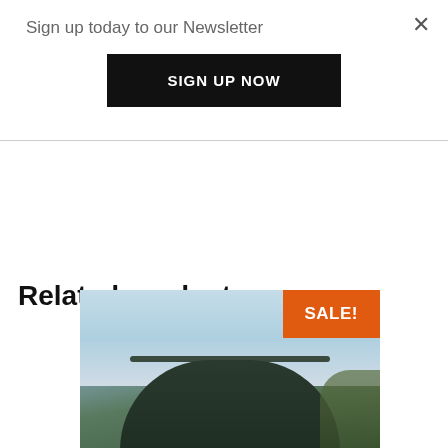Sign up today to our Newsletter
SIGN UP NOW
×
Related products
[Figure (photo): A dark dome fishing/camping tent photographed outdoors against a cloudy sky with trees in the background. An orange 'SALE!' badge is shown in the top-right corner of the image.]